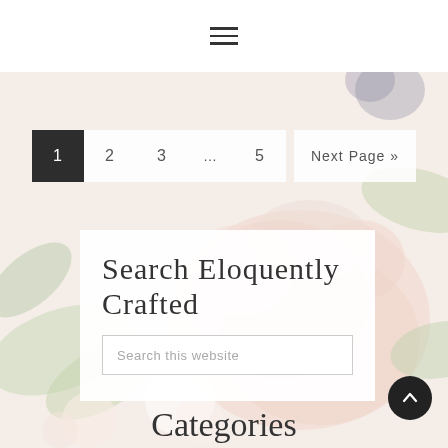[Figure (illustration): Floral background with soft pastel roses, green leaves, and flower arrangement filling most of the page area below the header.]
☰ (hamburger menu icon)
1 (current page, dark background)
2
3
... 5
Next Page »
Search Eloquently Crafted
Search this website
Categories